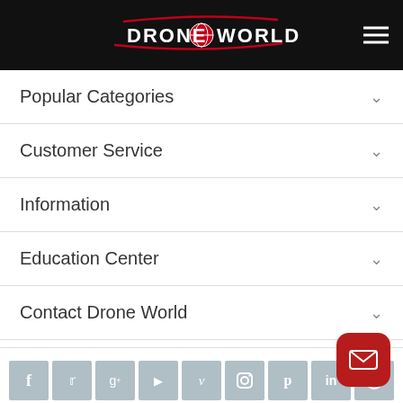Drone World — site header with logo and hamburger menu
Popular Categories
Customer Service
Information
Education Center
Contact Drone World
[Figure (other): Row of social media icon buttons: Facebook, Twitter, Google+, YouTube, Vimeo, Instagram, Pinterest, LinkedIn, WordPress]
Newsletter
Enter your email address